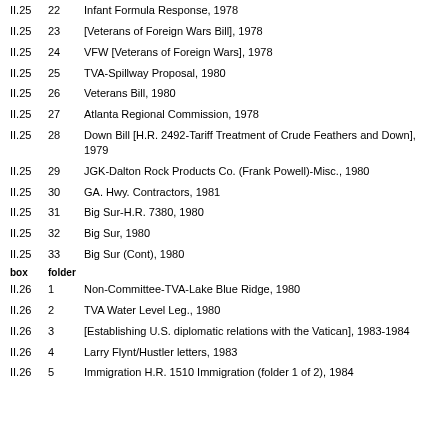II.25  22  Infant Formula Response, 1978
II.25  23  [Veterans of Foreign Wars Bill], 1978
II.25  24  VFW [Veterans of Foreign Wars], 1978
II.25  25  TVA-Spillway Proposal, 1980
II.25  26  Veterans Bill, 1980
II.25  27  Atlanta Regional Commission, 1978
II.25  28  Down Bill [H.R. 2492-Tariff Treatment of Crude Feathers and Down], 1979
II.25  29  JGK-Dalton Rock Products Co. (Frank Powell)-Misc., 1980
II.25  30  GA. Hwy. Contractors, 1981
II.25  31  Big Sur-H.R. 7380, 1980
II.25  32  Big Sur, 1980
II.25  33  Big Sur (Cont), 1980
box   folder
II.26  1  Non-Committee-TVA-Lake Blue Ridge, 1980
II.26  2  TVA Water Level Leg., 1980
II.26  3  [Establishing U.S. diplomatic relations with the Vatican], 1983-1984
II.26  4  Larry Flynt/Hustler letters, 1983
II.26  5  Immigration H.R. 1510 Immigration (folder 1 of 2), 1984